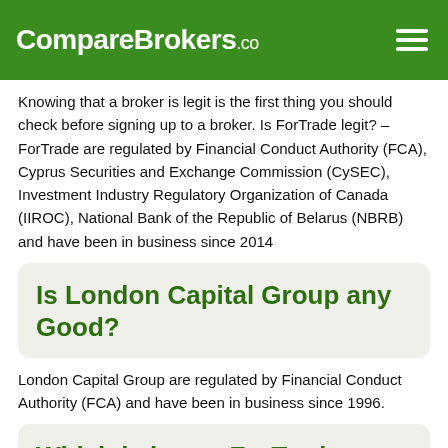CompareBrokers.co
Knowing that a broker is legit is the first thing you should check before signing up to a broker. Is ForTrade legit? – ForTrade are regulated by Financial Conduct Authority (FCA), Cyprus Securities and Exchange Commission (CySEC), Investment Industry Regulatory Organization of Canada (IIROC), National Bank of the Republic of Belarus (NBRB) and have been in business since 2014
Is London Capital Group any Good?
London Capital Group are regulated by Financial Conduct Authority (FCA) and have been in business since 1996.
Which is better ForTrade or